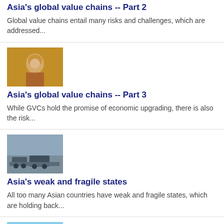Asia's global value chains -- Part 2
Global value chains entail many risks and challenges, which are addressed...
[Figure (photo): Thumbnail image for Asia's global value chains Part 3 article]
Asia's global value chains -- Part 3
While GVCs hold the promise of economic upgrading, there is also the risk...
[Figure (photo): Thumbnail image for Asia's weak and fragile states article]
Asia's weak and fragile states
All too many Asian countries have weak and fragile states, which are holding back...
[Figure (photo): Thumbnail image for Australia's fourth wave of engagement with Asia article]
Australia's fourth wave of engagement with Asia
Tim Harcourt, the "Airport Economist", puts Australia's next wave...